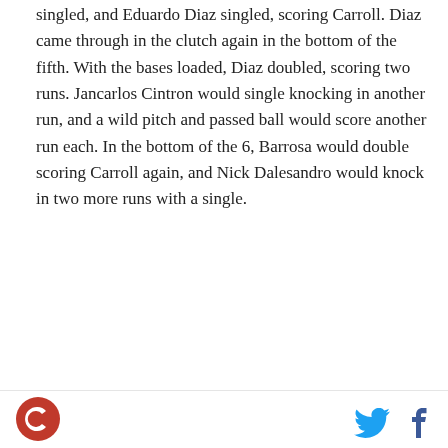singled, and Eduardo Diaz singled, scoring Carroll. Diaz came through in the clutch again in the bottom of the fifth. With the bases loaded, Diaz doubled, scoring two runs. Jancarlos Cintron would single knocking in another run, and a wild pitch and passed ball would score another run each. In the bottom of the 6, Barrosa would double scoring Carroll again, and Nick Dalesandro would knock in two more runs with a single.
Hillsboro Hops 0, Everett AquaSox 1
Scott Randall went three innings and allowed just one run on two hits and four walks, with three strikeouts. Marcos Tineo followed with three scoreless innings, allowing one hit, two walks with four...
[Figure (logo): Circular red and white logo in bottom left corner]
[Figure (other): Twitter bird icon and Facebook f icon in bottom right corner]